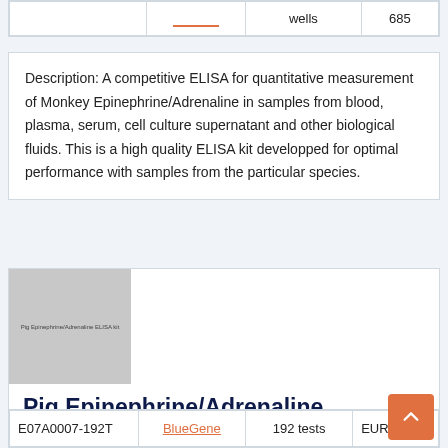|  |  | wells | 685 |
| --- | --- | --- | --- |
|  |  | wells | 685 |
Description: A competitive ELISA for quantitative measurement of Monkey Epinephrine/Adrenaline in samples from blood, plasma, serum, cell culture supernatant and other biological fluids. This is a high quality ELISA kit developped for optimal performance with samples from the particular species.
[Figure (photo): Product image placeholder for Pig Epinephrine/Adrenaline ELISA kit, gray square with label text]
Pig Epinephrine/Adrenaline ELISA kit
| E07A0007-192T | BlueGene | 192 tests | EUR 1 |
| --- | --- | --- | --- |
| E07A0007-192T | BlueGene | 192 tests | EUR 1 |